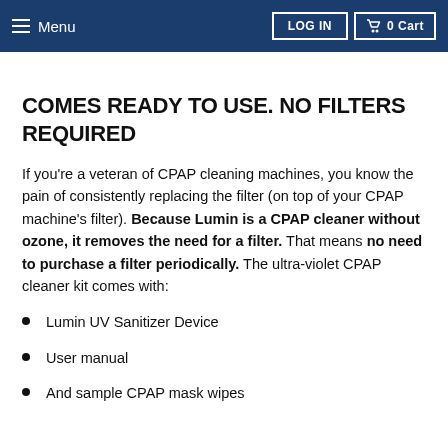≡ Menu | LOG IN | 🛒 0 Cart
COMES READY TO USE. NO FILTERS REQUIRED
If you're a veteran of CPAP cleaning machines, you know the pain of consistently replacing the filter (on top of your CPAP machine's filter). Because Lumin is a CPAP cleaner without ozone, it removes the need for a filter. That means no need to purchase a filter periodically. The ultra-violet CPAP cleaner kit comes with:
Lumin UV Sanitizer Device
User manual
And sample CPAP mask wipes